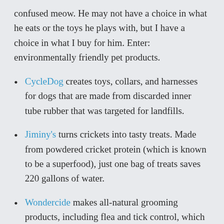confused meow. He may not have a choice in what he eats or the toys he plays with, but I have a choice in what I buy for him. Enter: environmentally friendly pet products.
CycleDog creates toys, collars, and harnesses for dogs that are made from discarded inner tube rubber that was targeted for landfills.
Jiminy's turns crickets into tasty treats. Made from powdered cricket protein (which is known to be a superfood), just one bag of treats saves 220 gallons of water.
Wondercide makes all-natural grooming products, including flea and tick control, which can be hard to come by.